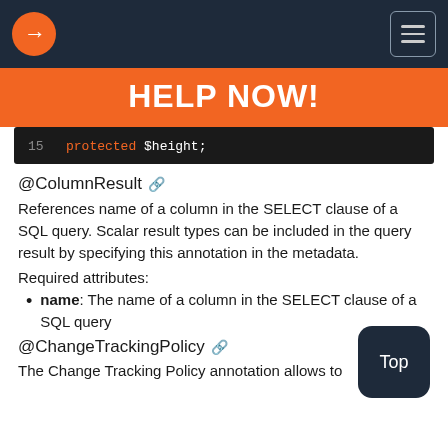HELP NOW!
[Figure (screenshot): Code editor showing line 15: protected $height;]
@ColumnResult
References name of a column in the SELECT clause of a SQL query. Scalar result types can be included in the query result by specifying this annotation in the metadata.
Required attributes:
name: The name of a column in the SELECT clause of a SQL query
@ChangeTrackingPolicy
The Change Tracking Policy annotation allows to